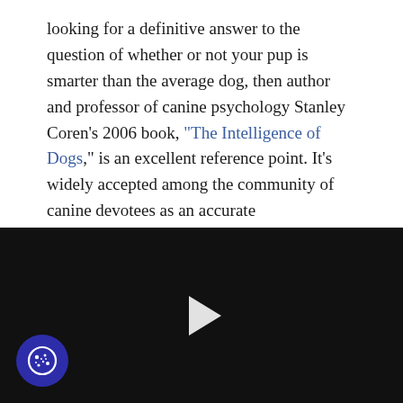looking for a definitive answer to the question of whether or not your pup is smarter than the average dog, then author and professor of canine psychology Stanley Coren's 2006 book, "The Intelligence of Dogs," is an excellent reference point. It's widely accepted among the community of canine devotees as an accurate representation of the trainability and overall intelligence of breeds recognized by the American and Canadian Kennel Clubs.
Coren's list of the 63 brightest dog breeds was compiled with help from the American and Canadian Kennel Clubs, as well as a survey of dog owners. At Coren's request, obedience trial judges
[Figure (other): A black video player with a white play button in the center, and a circular cookie consent icon in the bottom-left corner.]